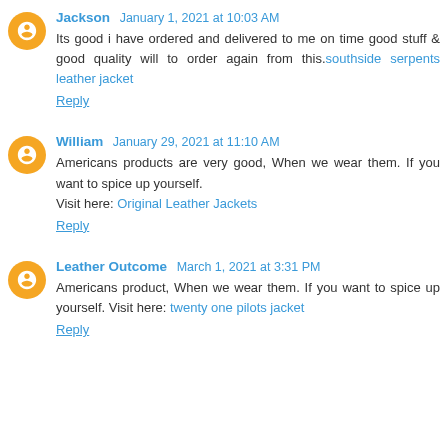Jackson January 1, 2021 at 10:03 AM
Its good i have ordered and delivered to me on time good stuff & good quality will to order again from this. southside serpents leather jacket
Reply
William January 29, 2021 at 11:10 AM
Americans products are very good, When we wear them. If you want to spice up yourself. Visit here: Original Leather Jackets
Reply
Leather Outcome March 1, 2021 at 3:31 PM
Americans product, When we wear them. If you want to spice up yourself. Visit here: twenty one pilots jacket
Reply